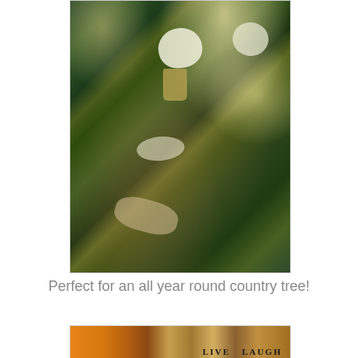[Figure (photo): Close-up photo of a country-style Christmas tree decorated with fluffy white star/cloud shaped ornaments, dried leaves, pine branches, fairy lights, and a small golden cup ornament]
Perfect for an all year round country tree!
[Figure (photo): Partial photo showing colorful items and a sign reading 'LIVE LAUGH' in bold letters on what appears to be book spines or decorative plaques]